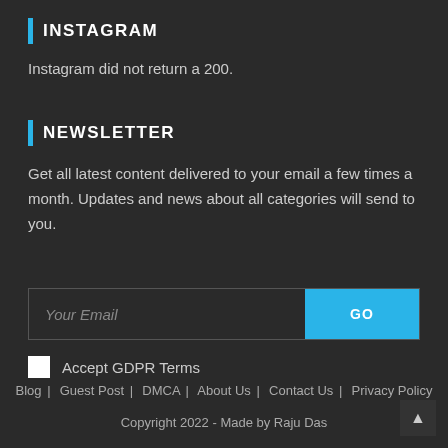INSTAGRAM
Instagram did not return a 200.
NEWSLETTER
Get all latest content delivered to your email a few times a month. Updates and news about all categories will send to you.
Your Email  GO  Accept GDPR Terms
Blog |  Guest Post |  DMCA |  About Us |  Contact Us |  Privacy Policy
Copyright 2022 - Made by Raju Das